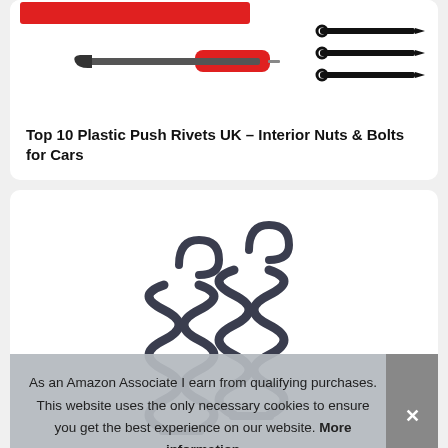[Figure (photo): Photo of automotive trim removal tools: a pry tool with red handle, a screwdriver with red handle, and three black plastic push rivets/clips on a white background]
Top 10 Plastic Push Rivets UK – Interior Nuts & Bolts for Cars
[Figure (photo): Photo of two dark blue/grey coil tension springs with hooked ends, on white background]
As an Amazon Associate I earn from qualifying purchases. This website uses the only necessary cookies to ensure you get the best experience on our website. More information